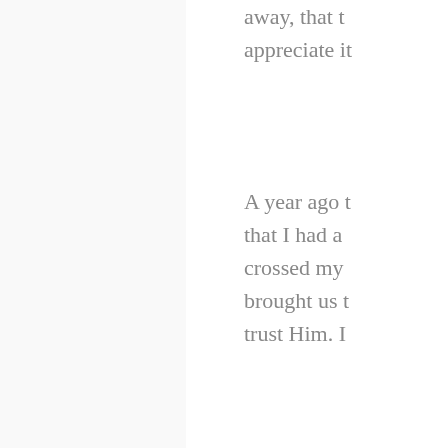away, that the appreciate it
A year ago that I had a crossed my brought us t trust Him. I
Posted by Ka Labels: cochl